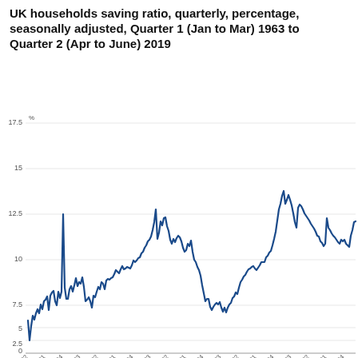UK households saving ratio, quarterly, percentage, seasonally adjusted, Quarter 1 (Jan to Mar) 1963 to Quarter 2 (Apr to June) 2019
[Figure (line-chart): Line chart showing UK household saving ratio from Q1 1963 to Q2 2019. Values start around 4-5% in 1963, rise through the 1970s peaking near 13.5%, fall through the 1980s-1990s to around 7.5%, rise again in the late 1990s-2000s peaking near 14.5%, then decline to around 12.5% by 2019.]